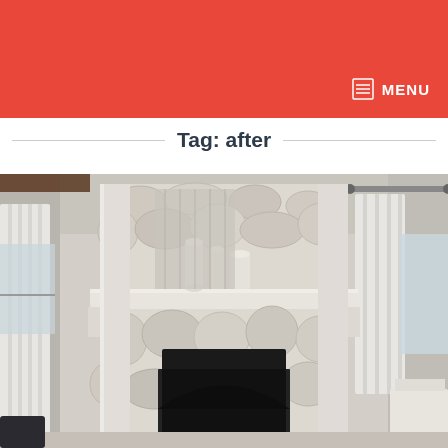Tag: after
[Figure (photo): Interior room photo showing a whitewashed stone fireplace with a white painted wood mantel. Decorative white vases/cylinders sit on the mantel shelf. White curtains frame windows on both sides. The fireplace has a dark arched metal screen. A small white side table is visible on the right. The room has a neutral, rustic cottage style.]